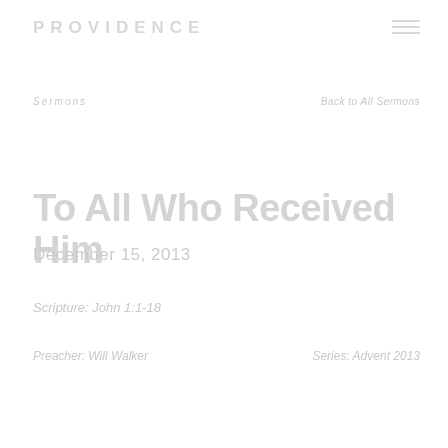PROVIDENCE
Sermons
Back to All Sermons
To All Who Received Him
December 15, 2013
Scripture: John 1:1-18
Preacher: Will Walker
Series: Advent 2013